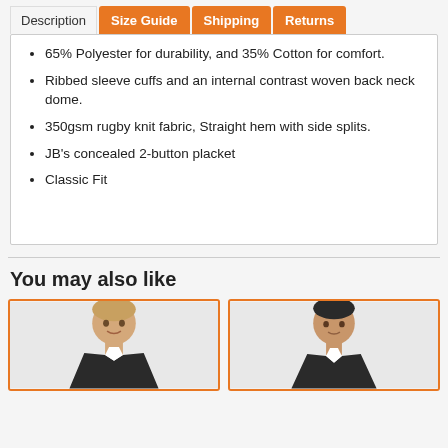Description | Size Guide | Shipping | Returns
65% Polyester for durability, and 35% Cotton for comfort.
Ribbed sleeve cuffs and an internal contrast woven back neck dome.
350gsm rugby knit fabric, Straight hem with side splits.
JB's concealed 2-button placket
Classic Fit
You may also like
[Figure (photo): Product photo of a man wearing a rugby shirt, left card]
[Figure (photo): Product photo of a man wearing a rugby shirt, right card]